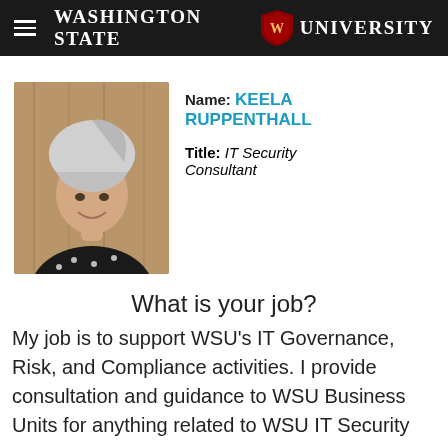Washington State University
[Figure (photo): Headshot photo of Keela Ruppenthall, a woman with short gray hair, smiling, wearing a black top with white dots, in front of a wooden background.]
Name: KEELA RUPPENTHALL
Title: IT Security Consultant
What is your job?
My job is to support WSU's IT Governance, Risk, and Compliance activities. I provide consultation and guidance to WSU Business Units for anything related to WSU IT Security